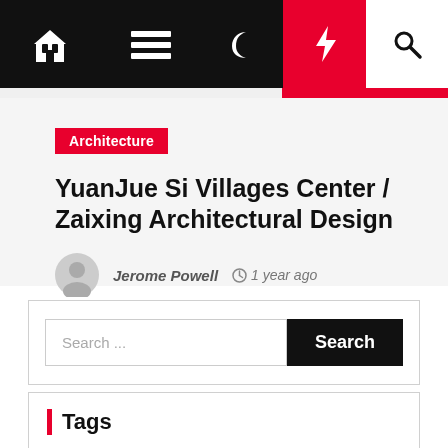[Figure (screenshot): Website navigation bar with home icon, hamburger menu, moon icon, lightning bolt (red background), and search icon]
Architecture
YuanJue Si Villages Center / Zaixing Architectural Design
Jerome Powell  1 year ago
Search ...
Tags